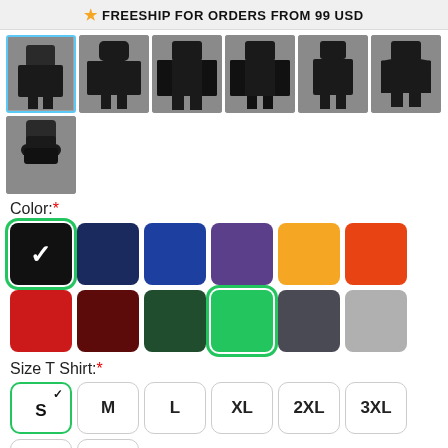★ FREESHIP FOR ORDERS FROM 99 USD
[Figure (photo): Grid of 7 product images showing men in black clothing: t-shirt (selected), hoodie, long-sleeve, long-sleeve v2, tank top (row 1), v-neck t-shirt, face mask (row 2)]
Color:*
[Figure (infographic): Color swatches: black (selected with checkmark), navy, royal blue, purple, gold/yellow, orange-red, red, dark red/maroon, dark green (row 1); green (selected with outline), dark gray, light gray (row 2)]
Size T Shirt:*
[Figure (infographic): Size buttons: S (selected with green border and checkmark), M, L, XL, 2XL, 3XL, 4XL, 5XL]
$19.00